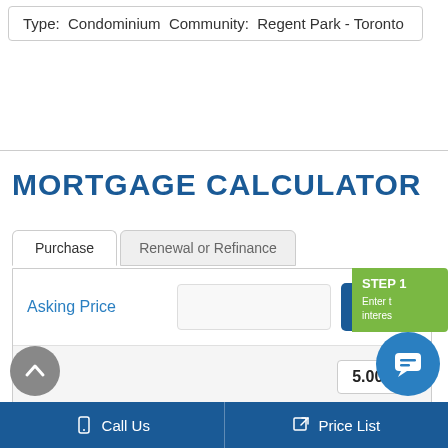Type:  Condominium  Community:  Regent Park - Toronto
MORTGAGE CALCULATOR
[Figure (screenshot): Mortgage calculator UI with Purchase and Renewal or Refinance tabs, Asking Price input field, GO button, interest rate badge showing 5.00%, Down payment field with help icon, Step 1 green tooltip panel.]
Call Us
Price List